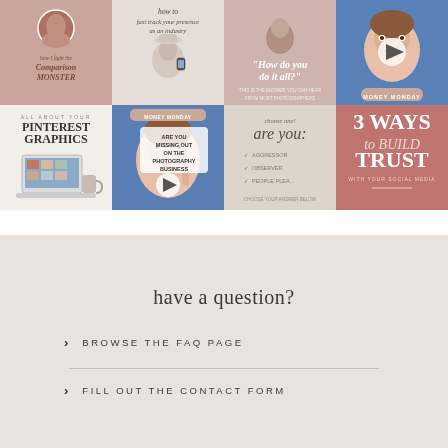[Figure (photo): Instagram grid of 8 posts – row 1: (1) woman at desk with text 'how I fight the comparison monster', (2) woman with hat text 'how to fast track your presence as an industry leader', (3) person with text '"How do you do it all?"', (4) video thumbnail woman in blue shirt with money monday badge; row 2: (5) laptop with text 'PINTEREST GRAPHICS', (6) video thumbnail woman in blue shirt 'ARE YOU MISSING OUT ON THE PHOTOGRAPHY BUSINESS SOLUTION?' with play button, (7) light background 'choose one / are you:', (8) mauve background '3 WAYS to BUILD TRUST']
have a question?
> BROWSE THE FAQ PAGE
> FILL OUT THE CONTACT FORM